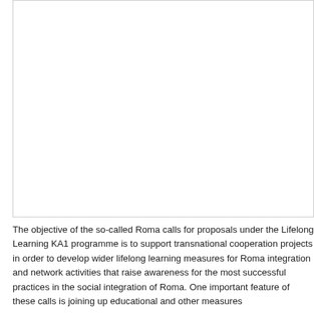[Figure (other): A large white/blank rectangular image area with a light gray border, occupying the top portion of the page.]
The objective of the so-called Roma calls for proposals under the Lifelong Learning KA1 programme is to support transnational cooperation projects in order to develop wider lifelong learning measures for Roma integration and network activities that raise awareness for the most successful practices in the social integration of Roma. One important feature of these calls is joining up educational and other measures